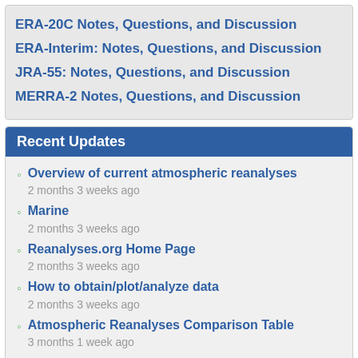ERA-20C Notes, Questions, and Discussion
ERA-Interim: Notes, Questions, and Discussion
JRA-55: Notes, Questions, and Discussion
MERRA-2 Notes, Questions, and Discussion
Recent Updates
Overview of current atmospheric reanalyses
2 months 3 weeks ago
Marine
2 months 3 weeks ago
Reanalyses.org Home Page
2 months 3 weeks ago
How to obtain/plot/analyze data
2 months 3 weeks ago
Atmospheric Reanalyses Comparison Table
3 months 1 week ago
Recent comments